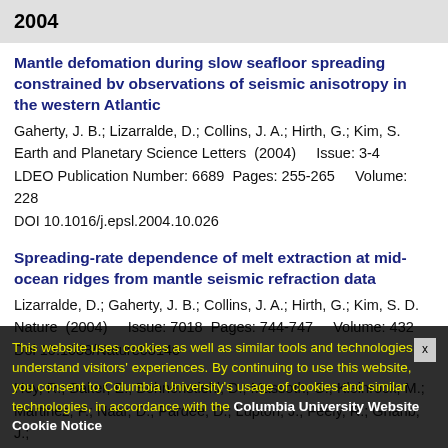2004
Mantle defomation during slow seafloor spreading constrained bv observations of seismic anisotropy in the western Atlantic
Gaherty, J. B.; Lizarralde, D.; Collins, J. A.; Hirth, G.; Kim, S.
Earth and Planetary Science Letters  (2004)    Issue: 3-4
LDEO Publication Number: 6689  Pages: 255-265    Volume: 228
DOI 10.1016/j.epsl.2004.10.026
Spreading-rate dependence of melt extraction at mid-ocean ridges from mantle seismic refraction data
Lizarralde, D.; Gaherty, J. B.; Collins, J. A.; Hirth, G.; Kim, S. D.
Nature  (2004)    Issue: 7018  Pages: 744-747    Volume: 432
Doi 10.1038/Nature03140
Hey, R.; Baker, E.; Bohnenstiehl, D.; Massoth, G.; Kleinrock, M.;
Martinez, F.; Naar, D.; Pardee, D.; Lupton, J.; Feely, R.; Gharib, J.; Resing, J.; Roundo, C.; Sansone, F.; Walker, S.
Geochemistry Geophysics Geosystems  (2004)
LDEO Publication Number: 6659  Pages,  Volume: 5
Doi 10.1029/2004gc000764
This website uses cookies as well as similar tools and technologies to understand visitors' experiences. By continuing to use this website, you consent to Columbia University's usage of cookies and similar technologies, in accordance with the Columbia University Website Cookie Notice